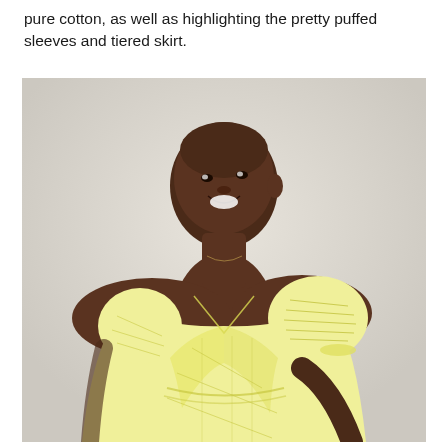pure cotton, as well as highlighting the pretty puffed sleeves and tiered skirt.
[Figure (photo): A smiling woman with short hair wearing a pale yellow cotton dress with puffed sleeves and a wrap-style bodice featuring diamond-pattern lace/broderie anglaise texture. The dress has a cinched waist. Background is a light neutral grey-beige. Upper body and torso visible.]